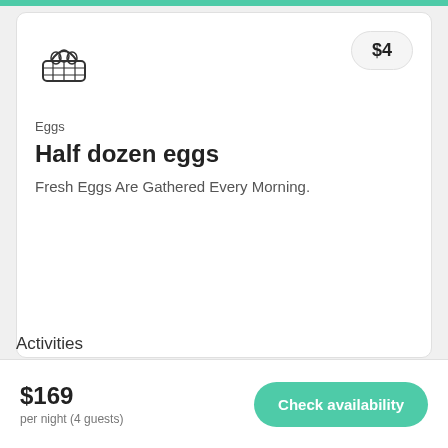[Figure (illustration): Basket with eggs icon, line art style]
$4
Eggs
Half dozen eggs
Fresh Eggs Are Gathered Every Morning.
Activities
$169
per night (4 guests)
Check availability